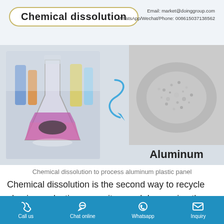Chemical dissolution | Email: market@doinggroup.com | WhatsApp/Wechat/Phone: 008615037138562
Chemical  dissolution
Email: market@doinggroup.com
WhatsApp/Wechat/Phone: 008615037138562
[Figure (illustration): Left: laboratory photo with Erlenmeyer flask containing pink/purple liquid and dark material, surrounded by colored bottles. Blue curly arrow pointing right. Right: close-up photo of aluminum powder/granules. Label 'Aluminum' below right photo.]
Chemical dissolution to process aluminum plastic panel
Chemical dissolution is the second way to recycle aluminum plastic composite panel. Immersing the aluminum plastic composite panel into the chemical solution, the chemical solution will penetrate the plastic
Call us | Chat online | Whatsapp | Inquiry